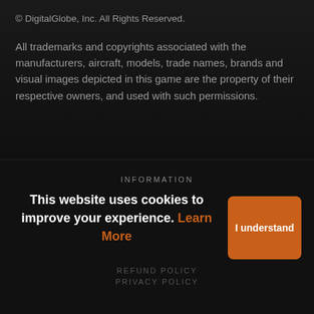© DigitalGlobe, Inc. All Rights Reserved.
All trademarks and copyrights associated with the manufacturers, aircraft, models, trade names, brands and visual images depicted in this game are the property of their respective owners, and used with such permissions.
INFORMATION
This website uses cookies to improve your experience. Learn More
I understand
REFUND POLICY
PRIVACY POLICY